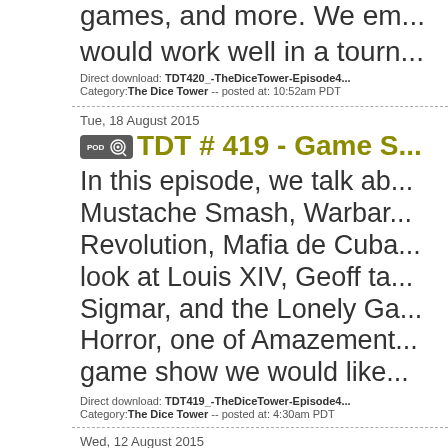games, and more. We em... would work well in a tourn...
Direct download: TDT420_-TheDiceTower-Episode4... Category: The Dice Tower -- posted at: 10:52am PDT
Tue, 18 August 2015
TDT # 419 - Game S...
In this episode, we talk ab... Mustache Smash, Warbar... Revolution, Mafia de Cuba... look at Louis XIV, Geoff ta... Sigmar, and the Lonely Ga... Horror, one of Amazement... game show we would like...
Direct download: TDT419_-TheDiceTower-Episode4... Category: The Dice Tower -- posted at: 4:30am PDT
Wed, 12 August 2015
TDT # 418 - Convert...
In this show, we talk abou... Acquisition Game, The Gr... Dragons, Queen's Neckla...